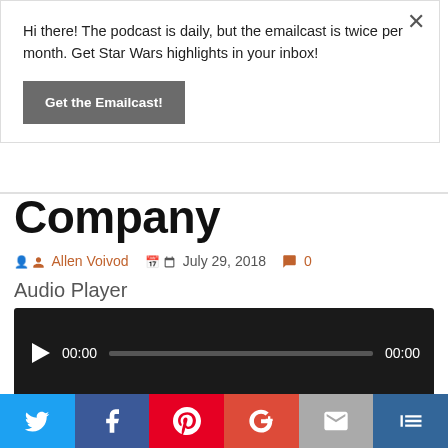Hi there! The podcast is daily, but the emailcast is twice per month. Get Star Wars highlights in your inbox!
Get the Emailcast!
Company
Allen Voivod   July 29, 2018   0
Audio Player
[Figure (other): Audio player widget with play button, progress bar, and time display showing 00:00 / 00:00 on dark background]
[Figure (infographic): Social sharing bar with Twitter, Facebook, Pinterest, Google+, Email, and another share button]